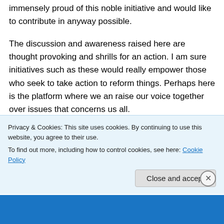immensely proud of this noble initiative and would like to contribute in anyway possible.
The discussion and awareness raised here are thought provoking and shrills for an action. I am sure initiatives such as these would really empower those who seek to take action to reform things. Perhaps here is the platform where we an raise our voice together over issues that concerns us all.
↩ Reply
Privacy & Cookies: This site uses cookies. By continuing to use this website, you agree to their use.
To find out more, including how to control cookies, see here: Cookie Policy
Close and accept